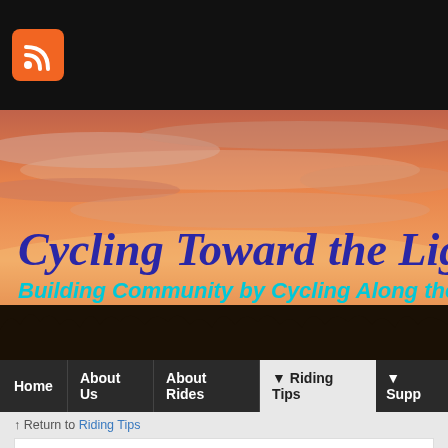[Figure (screenshot): RSS feed icon - orange rounded square with white RSS symbol]
[Figure (photo): Sunset banner image with orange/pink sky, silhouetted trees, with 'Cycling Toward the Light' in dark blue italic script and subtitle 'Building Community by Cycling Along the W...' in cyan italic bold]
Home | About Us | About Rides | Riding Tips | Supp...
↑ Return to Riding Tips
Riding Responsibly!
Ride Responsibly – 2011 June 11
Author: blueneck*